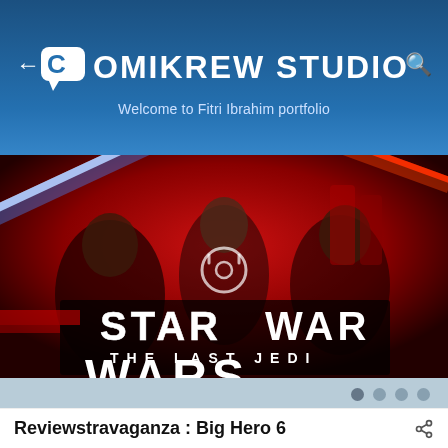Comikrew Studio
Welcome to Fitri Ibrahim portfolio
[Figure (photo): Star Wars: The Last Jedi movie poster showing characters including Finn, General Leia, and other heroes and villains on a red background with lightsabers. Text reads STAR WARS THE LAST JEDI WARS.]
Reviewstravaganza : Big Hero 6